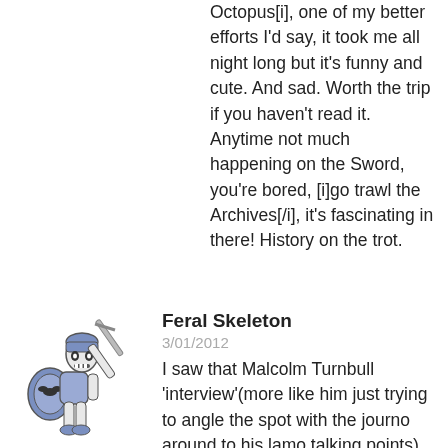Octopus[i], one of my better efforts I'd say, it took me all night long but it's funny and cute. And sad. Worth the trip if you haven't read it. Anytime not much happening on the Sword, you're bored, [i]go trawl the Archives[/i], it's fascinating in there! History on the trot.
[Figure (illustration): Cartoon feral skeleton warrior character holding a sword, wearing armor with a shield]
Feral Skeleton
3/01/2012
I saw that Malcolm Turnbull 'interview'(more like him just trying to angle the spot with the journo around to his lamo talking points). However, Deborah Rice, thankfully, was having none of it(not that you get to see that in the subsequently edited down version which gets played over and over and over and over...). I imagine the Coalition will go looking for a more sympathetic interviewer next time. Nevertheless, the most salient point which no interviewer ever runs with whenever the Coalitiohn trot out their, 'the NBN is such a waste of money because no one is taking it up', claptrap, is that the